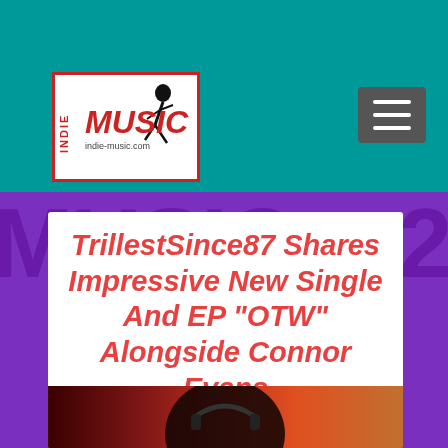Indie Music - indie-music.com
[Figure (logo): Indie Music logo with red border, dancing silhouette, bold red italic MUSIC text, and website URL indie-music.com]
[Figure (screenshot): Hamburger menu icon (three horizontal lines) on dark grey background button in top right]
TrillestSince87 Shares Impressive New Single And EP “OTW” Alongside Connor Evans
[Figure (photo): Partial photo of a person wearing headphones against a warm red-orange glowing background, visible from chin down]